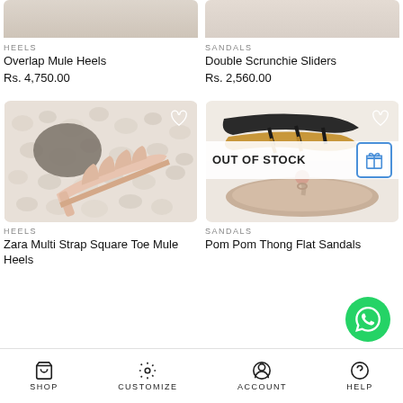[Figure (photo): Cropped top portion of Overlap Mule Heels product photo]
[Figure (photo): Cropped top portion of Double Scrunchie Sliders product photo]
HEELS
Overlap Mule Heels
Rs. 4,750.00
SANDALS
Double Scrunchie Sliders
Rs. 2,560.00
[Figure (photo): Pink Zara Multi Strap Square Toe Mule Heels on white pebbles background with wishlist heart icon]
[Figure (photo): Pom Pom Thong Flat Sandals product photo with OUT OF STOCK overlay and gift box button]
HEELS
Zara Multi Strap Square Toe Mule Heels
SANDALS
Pom Pom Thong Flat Sandals
SHOP  CUSTOMIZE  ACCOUNT  HELP